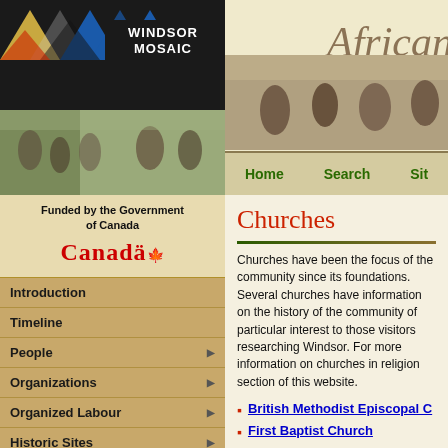[Figure (logo): Windsor Mosaic logo with triangles in yellow, blue, red on black background]
[Figure (photo): African community event outdoor photo showing people seated and socializing]
African
Home  Search  Sit
Funded by the Government of Canada  Canada
Introduction
Timeline
People
Organizations
Organized Labour
Historic Sites
Celebrations
Neighbourhood Registry
Churches
Churches have been the focus of the community since its foundations. Several churches have information on the history of the community of particular interest to those visitors researching Windsor. For more information on churches in religion section of this website.
British Methodist Episcopal C
First Baptist Church
Mount Zion Full Gospel Chu